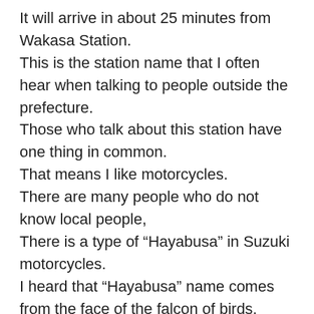It will arrive in about 25 minutes from Wakasa Station. This is the station name that I often hear when talking to people outside the prefecture. Those who talk about this station have one thing in common. That means I like motorcycles. There are many people who do not know local people, There is a type of “Hayabusa” in Suzuki motorcycles. I heard that “Hayabusa” name comes from the face of the falcon of birds. Every year, August 8th is the day of “Hayabusa”, It is a sacred place where “Hayabusa” riders gather. Most stations of the Wakasa Railway It is maintained in such a state.
This video was taken on April 4, 2020.